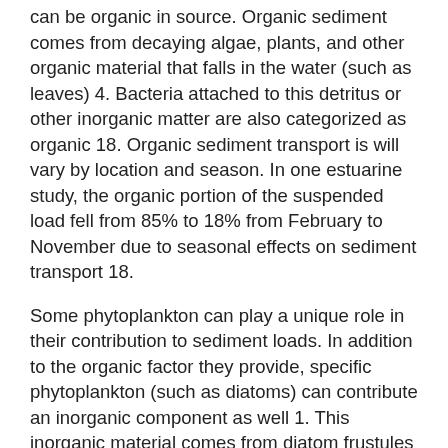can be organic in source. Organic sediment comes from decaying algae, plants, and other organic material that falls in the water (such as leaves) 4. Bacteria attached to this detritus or other inorganic matter are also categorized as organic 18. Organic sediment transport is will vary by location and season. In one estuarine study, the organic portion of the suspended load fell from 85% to 18% from February to November due to seasonal effects on sediment transport 18.
Some phytoplankton can play a unique role in their contribution to sediment loads. In addition to the organic factor they provide, specific phytoplankton (such as diatoms) can contribute an inorganic component as well 1. This inorganic material comes from diatom frustules and calcium carbonate detritus. While this material is not specifically organic, it is organic in origin 1.